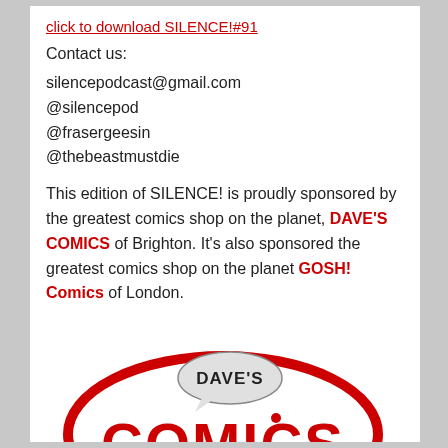click to download SILENCE!#91
Contact us:
silencepodcast@gmail.com
@silencepod
@frasergeesin
@thebeastmustdie
This edition of SILENCE! is proudly sponsored by the greatest comics shop on the planet, DAVE'S COMICS of Brighton. It's also sponsored the greatest comics shop on the planet GOSH! Comics of London.
[Figure (logo): Dave's Comics logo — a red oval speech bubble containing the text 'DAVE'S' in a smaller speech bubble and 'COMICS' in large red letters below]